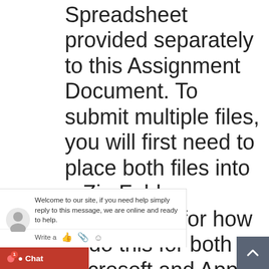Spreadsheet provided separately to this Assignment Document. To submit multiple files, you will first need to place both files into a Zip Folder. Instructions for how to do this for both Microsoft and Apple Mac users has been provided to you by using the following link. www.wikihow.com/Make- ile 6. Complete the nents of this business the following box and spreadsheets. Key objectives nd financial review Financial
Welcome to our site, if you need help simply reply to this message, we are online and ready to help.
Write a